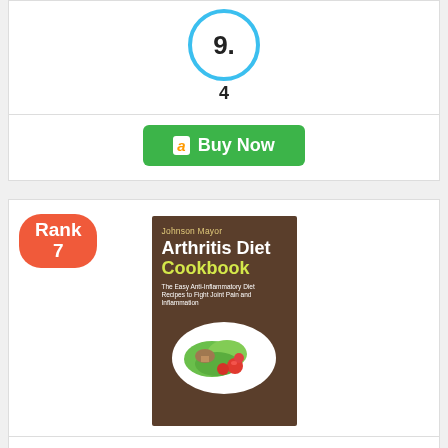[Figure (infographic): Score circle showing 9. with sub-label 4]
[Figure (infographic): Green Amazon Buy Now button]
[Figure (infographic): Rank 7 badge (red oval) with book cover image of Arthritis Diet Cookbook by Johnson Mayor]
Arthritis Diet Cookbook: The Easy Anti-Inflammatory Diet to Fight Joint Pain and Inflammation
Editorial Score: